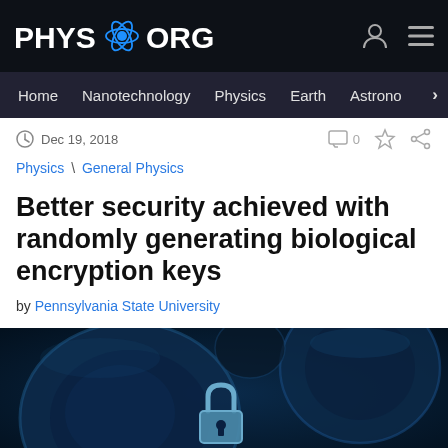PHYS.ORG
Home | Nanotechnology | Physics | Earth | Astronomy
Dec 19, 2018
Physics \ General Physics
Better security achieved with randomly generating biological encryption keys
by Pennsylvania State University
[Figure (photo): Dark blue microscopic image showing biological cells and a padlock, illustrating biological encryption keys]